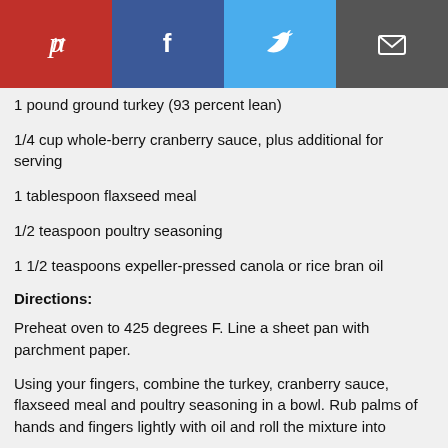[Figure (other): Social sharing buttons row: Pinterest (red), Facebook (dark blue), Twitter (light blue), Email (dark grey)]
1 pound ground turkey (93 percent lean)
1/4 cup whole-berry cranberry sauce, plus additional for serving
1 tablespoon flaxseed meal
1/2 teaspoon poultry seasoning
1 1/2 teaspoons expeller-pressed canola or rice bran oil
Directions:
Preheat oven to 425 degrees F. Line a sheet pan with parchment paper.
Using your fingers, combine the turkey, cranberry sauce, flaxseed meal and poultry seasoning in a bowl. Rub palms of hands and fingers lightly with oil and roll the mixture into